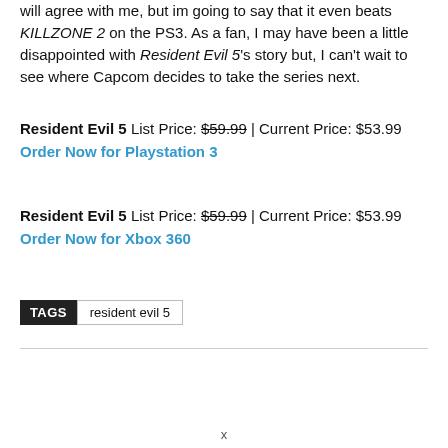will agree with me, but im going to say that it even beats KILLZONE 2 on the PS3. As a fan, I may have been a little disappointed with Resident Evil 5's story but, I can't wait to see where Capcom decides to take the series next.
Resident Evil 5 List Price: $59.99 | Current Price: $53.99
Order Now for Playstation 3
Resident Evil 5 List Price: $59.99 | Current Price: $53.99
Order Now for Xbox 360
TAGS   resident evil 5
x